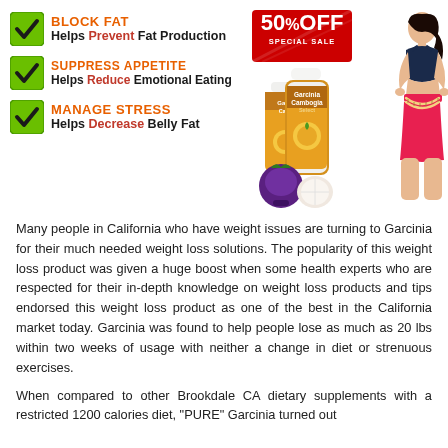BLOCK FAT — Helps Prevent Fat Production
SUPPRESS APPETITE — Helps Reduce Emotional Eating
MANAGE STRESS — Helps Decrease Belly Fat
[Figure (photo): 50% OFF SPECIAL SALE badge in red, two bottles of Garcinia Cambogia Select supplement with fruit, and a slim woman in pink shorts measuring her waist]
Many people in California who have weight issues are turning to Garcinia for their much needed weight loss solutions. The popularity of this weight loss product was given a huge boost when some health experts who are respected for their in-depth knowledge on weight loss products and tips endorsed this weight loss product as one of the best in the California market today. Garcinia was found to help people lose as much as 20 lbs within two weeks of usage with neither a change in diet or strenuous exercises.
When compared to other Brookdale CA dietary supplements with a restricted 1200 calories diet, "PURE" Garcinia turned out